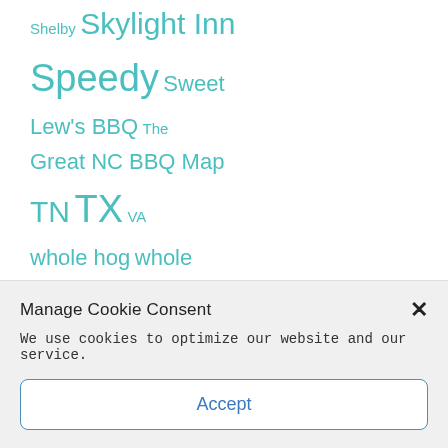Shelby Skylight Inn Speedy Sweet Lew's BBQ The Great NC BBQ Map TN TX VA whole hog whole hog barbecue
BLOGROLL
Manage Cookie Consent
We use cookies to optimize our website and our service.
Accept